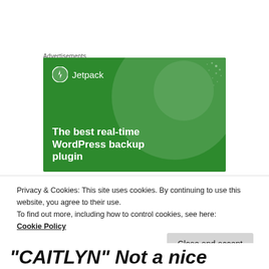Advertisements
[Figure (illustration): Jetpack advertisement banner with green background showing logo and text: 'The best real-time WordPress backup plugin']
Privacy & Cookies: This site uses cookies. By continuing to use this website, you agree to their use.
To find out more, including how to control cookies, see here:
Cookie Policy
Close and accept
“CAITLYN” Not a nice